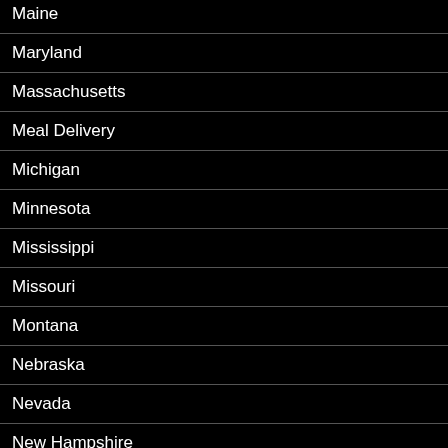Maine
Maryland
Massachusetts
Meal Delivery
Michigan
Minnesota
Mississippi
Missouri
Montana
Nebraska
Nevada
New Hampshire
New Jersey